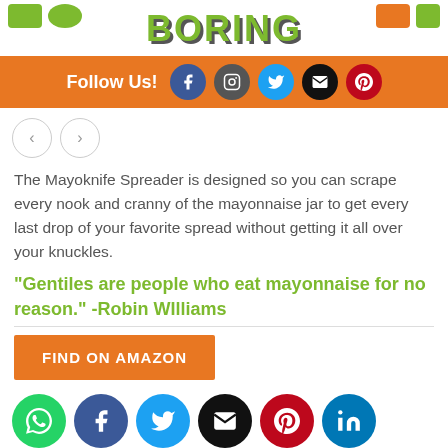Boring (logo/header)
[Figure (infographic): Orange Follow Us bar with social media icons: Facebook (blue), Instagram (dark gray), Twitter (blue), Email (black), Pinterest (red)]
The Mayoknife Spreader is designed so you can scrape every nook and cranny of the mayonnaise jar to get every last drop of your favorite spread without getting it all over your knuckles.
"Gentiles are people who eat mayonnaise for no reason." -Robin WIlliams
FIND ON AMAZON
[Figure (infographic): Bottom row of social media circle icons: Phone/WhatsApp (green), Facebook (blue), Twitter (blue), Email (black), Pinterest (red), LinkedIn (blue)]